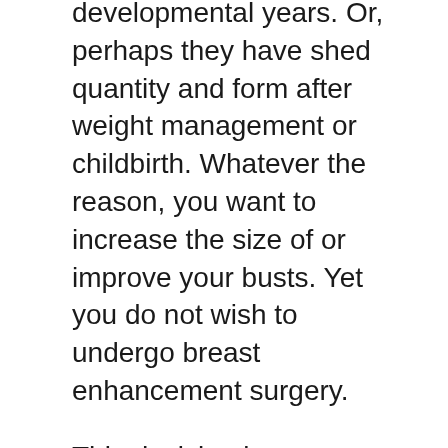developmental years. Or, perhaps they have shed quantity and form after weight management or childbirth. Whatever the reason, you want to increase the size of or improve your busts. Yet you do not wish to undergo breast enhancement surgery.
This decision is a very sensible one. Along with the very high expense, implants likewise bring high threats. They call for the repeating of the restorative surgical treatment and also it can develop possible problems in the future.
These issues consist of an increased risk of cancer cells. For even more information, see guide of Problems associated with breast augmentation published by the FDA.